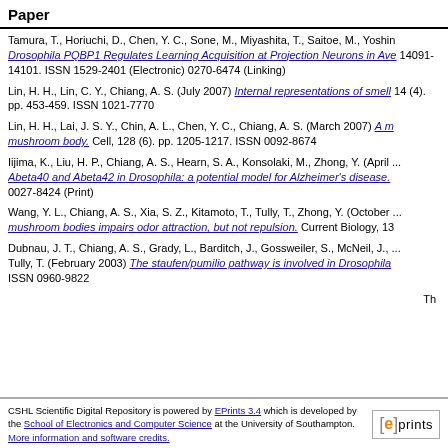Paper
Tamura, T., Horiuchi, D., Chen, Y. C., Sone, M., Miyashita, T., Saitoe, M., Yoshi... Drosophila PQBP1 Regulates Learning Acquisition at Projection Neurons in Ave... 14091-14101. ISSN 1529-2401 (Electronic) 0270-6474 (Linking)
Lin, H. H., Lin, C. Y., Chiang, A. S. (July 2007) Internal representations of smell... 14 (4). pp. 453-459. ISSN 1021-7770
Lin, H. H., Lai, J. S. Y., Chin, A. L., Chen, Y. C., Chiang, A. S. (March 2007) A m... mushroom body. Cell, 128 (6). pp. 1205-1217. ISSN 0092-8674
Iijima, K., Liu, H. P., Chiang, A. S., Hearn, S. A., Konsolaki, M., Zhong, Y. (April ... Abeta40 and Abeta42 in Drosophila: a potential model for Alzheimer's disease. ... 0027-8424 (Print)
Wang, Y. L., Chiang, A. S., Xia, S. Z., Kitamoto, T., Tully, T., Zhong, Y. (October ... mushroom bodies impairs odor attraction, but not repulsion. Current Biology, 13...
Dubnau, J. T., Chiang, A. S., Grady, L., Barditch, J., Gossweiler, S., McNeil, J., ... Tully, T. (February 2003) The staufen/pumilio pathway is involved in Drosophila... ISSN 0960-9822
Th
CSHL Scientific Digital Repository is powered by EPrints 3.4 which is developed by the School of Electronics and Computer Science at the University of Southampton. More information and software credits.